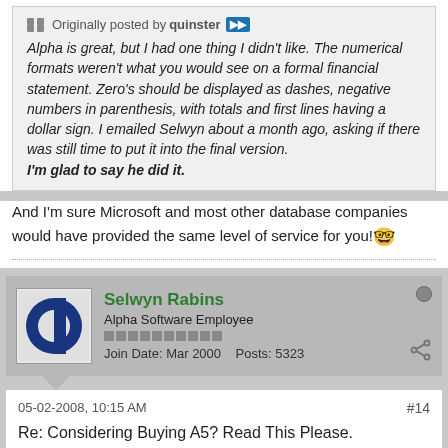Originally posted by quinster
Alpha is great, but I had one thing I didn't like. The numerical formats weren't what you would see on a formal financial statement. Zero's should be displayed as dashes, negative numbers in parenthesis, with totals and first lines having a dollar sign. I emailed Selwyn about a month ago, asking if there was still time to put it into the final version. I'm glad to say he did it.
And I'm sure Microsoft and most other database companies would have provided the same level of service for you!
Selwyn Rabins
Alpha Software Employee
Join Date: Mar 2000   Posts: 5323
05-02-2008, 10:15 AM
#14
Re: Considering Buying A5? Read This Please.
Originally posted by quinster
Alpha is great, but I had one thing I didn't like. The numerical formats weren't what you would see on a formal